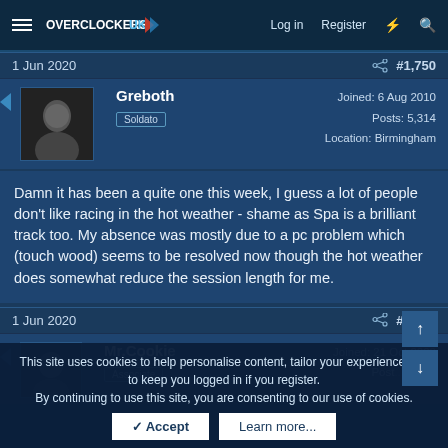Overclockers UK — Log in  Register
1 Jun 2020  #1,750
Greboth  Soldato  Joined: 6 Aug 2010  Posts: 5,314  Location: Birmingham
Damn it has been a quite one this week, I guess a lot of people don't like racing in the hot weather - shame as Spa is a brilliant track too. My absence was mostly due to a pc problem which (touch wood) seems to be resolved now though the hot weather does somewhat reduce the session length for me.
1 Jun 2020  #1,751
Mr.Cookie  Associate  Joined: 21 Oct 2002  Posts: 1,318
This site uses cookies to help personalise content, tailor your experience and to keep you logged in if you register.
By continuing to use this site, you are consenting to our use of cookies.